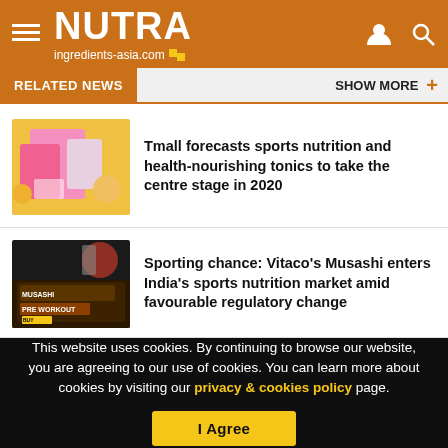NUTRA ingredients-asia.com
RELATED NEWS   SHOW MORE +
[Figure (photo): Pink sports nutrition product boxes on yellow background]
Tmall forecasts sports nutrition and health-nourishing tonics to take the centre stage in 2020
[Figure (photo): Musashi PRE WORKOUT product with dark gym background]
Sporting chance: Vitaco’s Musashi enters India’s sports nutrition market amid favourable regulatory change
This website uses cookies. By continuing to browse our website, you are agreeing to our use of cookies. You can learn more about cookies by visiting our privacy & cookies policy page.